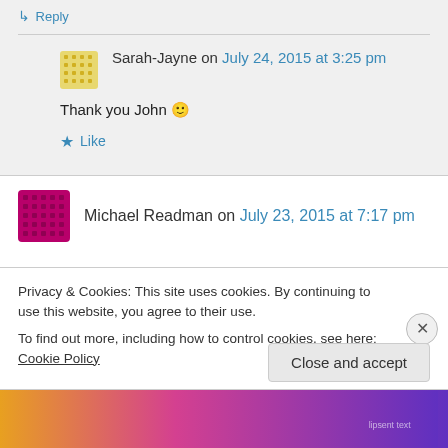↳ Reply
Sarah-Jayne on July 24, 2015 at 3:25 pm
Thank you John 🙂
★ Like
Michael Readman on July 23, 2015 at 7:17 pm
Privacy & Cookies: This site uses cookies. By continuing to use this website, you agree to their use.
To find out more, including how to control cookies, see here: Cookie Policy
Close and accept